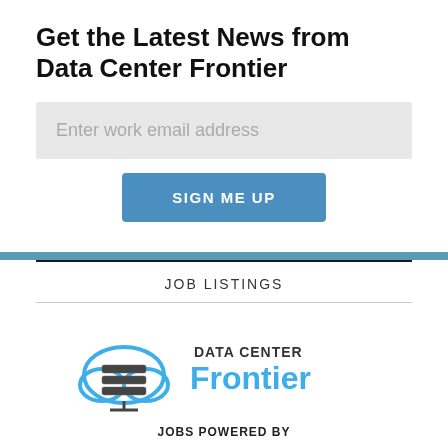Get the Latest News from Data Center Frontier
[Figure (other): Email input field with placeholder text 'Enter work email address']
[Figure (other): Blue button labeled 'SIGN ME UP']
JOB LISTINGS
[Figure (logo): Data Center Frontier logo with cloud/server icon, text 'DATA CENTER Frontier', and 'JOBS POWERED BY' text below]
[Figure (logo): Dice.com logo partially visible at bottom]